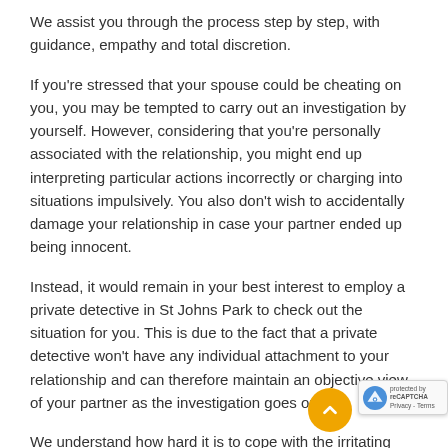We assist you through the process step by step, with guidance, empathy and total discretion.
If you're stressed that your spouse could be cheating on you, you may be tempted to carry out an investigation by yourself. However, considering that you're personally associated with the relationship, you might end up interpreting particular actions incorrectly or charging into situations impulsively. You also don't wish to accidentally damage your relationship in case your partner ended up being innocent.
Instead, it would remain in your best interest to employ a private detective in St Johns Park to check out the situation for you. This is due to the fact that a private detective won't have any individual attachment to your relationship and can therefore maintain an objective view of your partner as the investigation goes on.
We understand how hard it is to cope with the irritating feeling that your partner might be seeing somebody else in